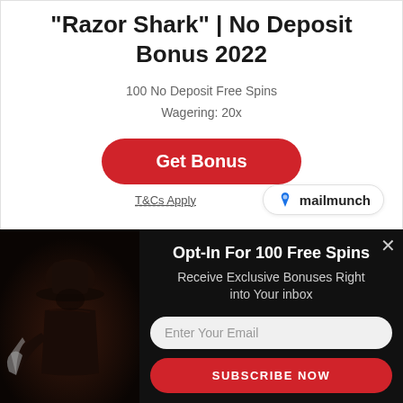"Razor Shark" | No Deposit Bonus 2022
100 No Deposit Free Spins
Wagering: 20x
Get Bonus
T&Cs Apply
[Figure (logo): Mailmunch branding logo with blue flame icon and text 'mailmunch']
[Figure (photo): Dark popup overlay with a horror-themed silhouette figure holding a blade on dark background]
Opt-In For 100 Free Spins
Receive Exclusive Bonuses Right into Your inbox
Enter Your Email
SUBSCRIBE NOW